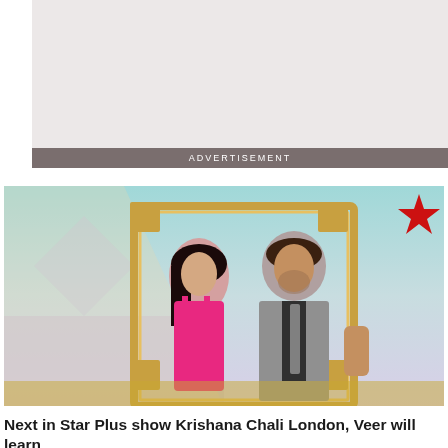[Figure (other): Advertisement placeholder block with grey background and 'ADVERTISEMENT' label bar]
[Figure (photo): Promotional image for Star Plus show Krishana Chali London featuring a woman in a pink dress and a man in a grey suit holding a decorative picture frame, with a teal/lavender background]
Next in Star Plus show Krishana Chali London, Veer will learn